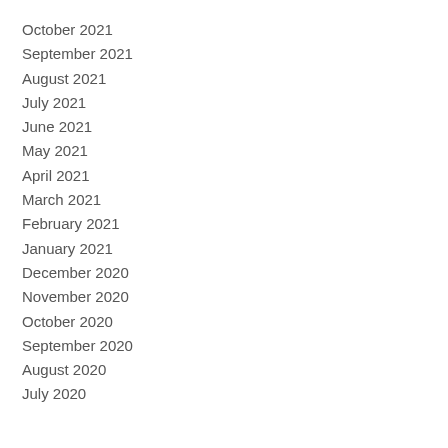October 2021
September 2021
August 2021
July 2021
June 2021
May 2021
April 2021
March 2021
February 2021
January 2021
December 2020
November 2020
October 2020
September 2020
August 2020
July 2020